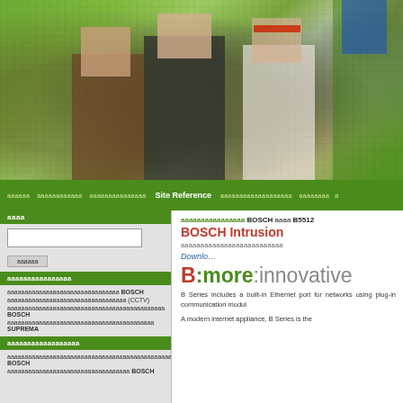[Figure (photo): Pixelated/blurred hero image showing people in front of a green background, with a blue panel visible on the right side]
ааааааа  аааааааааааа  аааааааааааааа  Site Reference  аааааааааааааааааа  аааааааа  а
аааа
ааааааааааааааааааааааааааааааааааааааааааааааааааааааа (CCTV)
аааааааааааааааааааааааааааааааааааааааааааааааааа BOSCH
аааааааааааааааааааааааааааааааааааааааааааааааааааааааааа SUPREMA
аааааааааааааааа
ааааааааааааааааааааааааааааааааааааааааааааааааааааааааааааааа BOSCH
ааааааааааааааааа BOSCH
аааааааааааааа BOSCH аааа B5512
BOSCH Intrusion
ааааааааааааааааааа
Download
B:more:innovative
B Series includes a built-in Ethernet port for networks using plug-in communication modul
A modern internet appliance, B Series is the